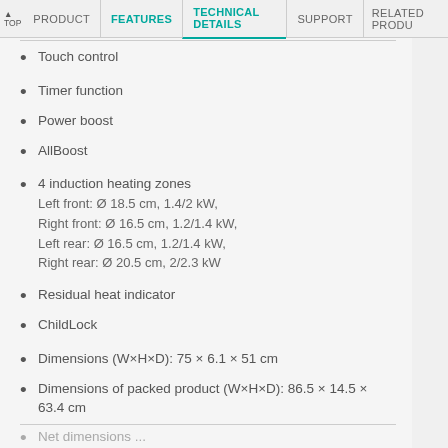PRODUCT | FEATURES | TECHNICAL DETAILS | SUPPORT | RELATED PRODU...
Touch control
Timer function
Power boost
AllBoost
4 induction heating zones
Left front: Ø 18.5 cm, 1.4/2 kW,
Right front: Ø 16.5 cm, 1.2/1.4 kW,
Left rear: Ø 16.5 cm, 1.2/1.4 kW,
Right rear: Ø 20.5 cm, 2/2.3 kW
Residual heat indicator
ChildLock
Dimensions (W×H×D): 75 × 6.1 × 51 cm
Dimensions of packed product (W×H×D): 86.5 × 14.5 × 63.4 cm